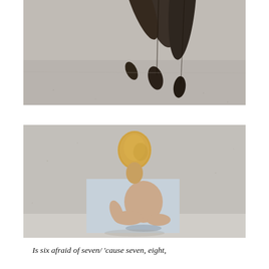[Figure (photo): Close-up photograph of dark, gnarled root or branch tips against a light grey concrete background, viewed from above]
[Figure (photo): Photograph of a small sculptural figure with a round yellowish head (resembling a vegetable or gourd) placed on top of a printed photograph of a seated nude figure, against a concrete wall background]
Is six afraid of seven/ 'cause seven, eight,